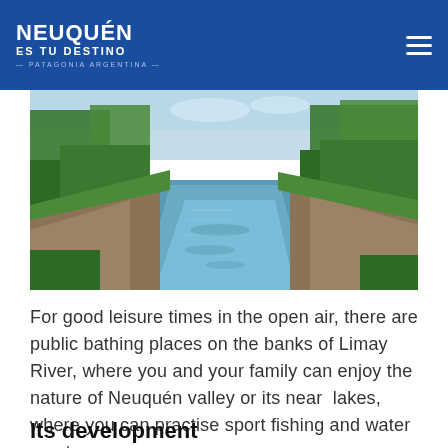NEUQUÉN ES TU DESTINO — PATAGONIA ARGENTINA —
[Figure (photo): River view of Limay River with green trees lining both banks, calm blue water flowing through the center, sunny day in Neuquén, Patagonia Argentina.]
For good leisure times in the open air, there are public bathing places on the banks of Limay River, where you and your family can enjoy the nature of Neuquén valley or its near lakes, where you can practise sport fishing and water sports.
Its development